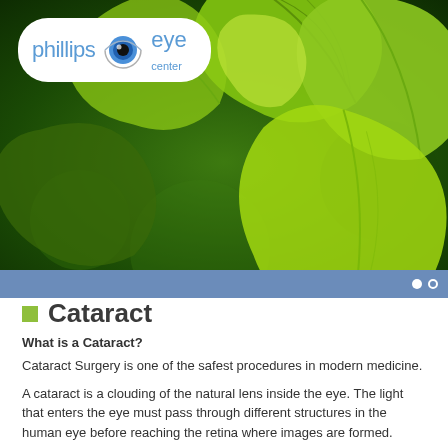[Figure (photo): Green maple leaves background photo used as hero banner for Phillips Eye Center website]
[Figure (logo): Phillips Eye Center logo with blue eye graphic, text reading 'phillips eye center' on white rounded rectangle background]
Cataract
What is a Cataract?
Cataract Surgery is one of the safest procedures in modern medicine.
A cataract is a clouding of the natural lens inside the eye. The light that enters the eye must pass through different structures in the human eye before reaching the retina where images are formed.
First the light passes through the cornea and then passes through the pupil formed by the iris. All light that passes through the pupil must then pass through the lens and out of focus when any of these structures become cloudy.